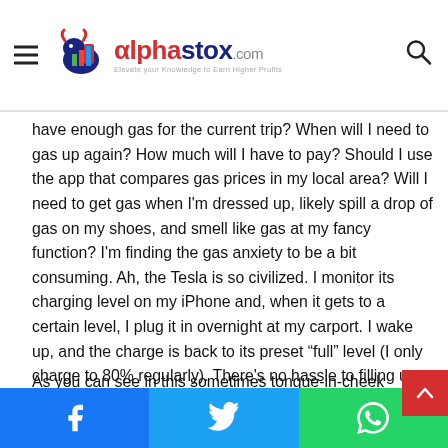alphastox.com
have enough gas for the current trip? When will I need to gas up again? How much will I have to pay? Should I use the app that compares gas prices in my local area? Will I need to get gas when I'm dressed up, likely spill a drop of gas on my shoes, and smell like gas at my fancy function? I'm finding the gas anxiety to be a bit consuming. Ah, the Tesla is so civilized. I monitor its charging level on my iPhone and, when it gets to a certain level, I plug it in overnight at my carport. I wake up, and the charge is back to its preset “full” level (I only charge to 80% regularly). There's no hassle to filling up the EV at all. I even occasionally grab free electricity at the city garage.
As you can see in this sometimes tongue-in-cheek analysis